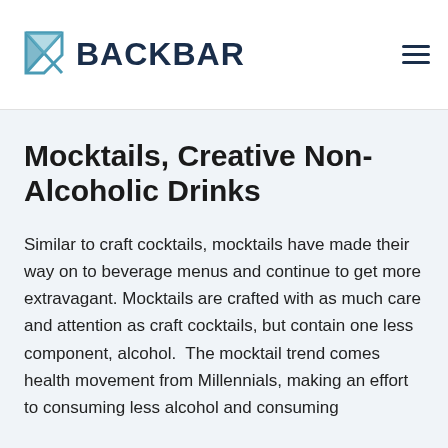BACKBAR
Mocktails, Creative Non-Alcoholic Drinks
Similar to craft cocktails, mocktails have made their way on to beverage menus and continue to get more extravagant. Mocktails are crafted with as much care and attention as craft cocktails, but contain one less component, alcohol.  The mocktail trend comes health movement from Millennials, making an effort to consuming less alcohol and consuming